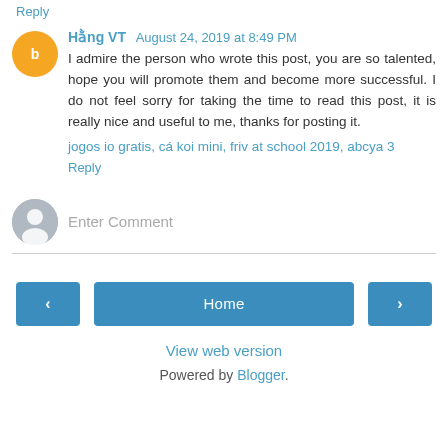Reply
Hằng VT  August 24, 2019 at 8:49 PM
I admire the person who wrote this post, you are so talented, hope you will promote them and become more successful. I do not feel sorry for taking the time to read this post, it is really nice and useful to me, thanks for posting it.
jogos io gratis, cá koi mini, friv at school 2019, abcya 3
Reply
Enter Comment
Home
View web version
Powered by Blogger.